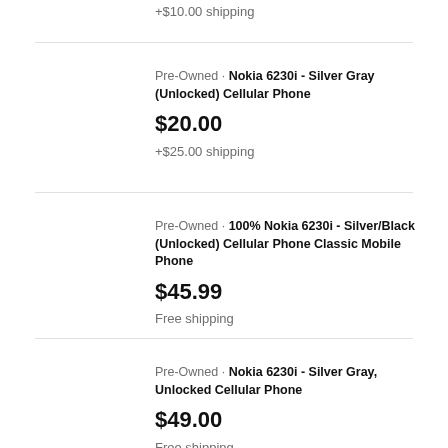+$10.00 shipping
Pre-Owned · Nokia 6230i - Silver Gray (Unlocked) Cellular Phone
$20.00
+$25.00 shipping
Pre-Owned · 100% Nokia 6230i - Silver/Black (Unlocked) Cellular Phone Classic Mobile Phone
$45.99
Free shipping
Pre-Owned · Nokia 6230i - Silver Gray, Unlocked Cellular Phone
$49.00
Free shipping